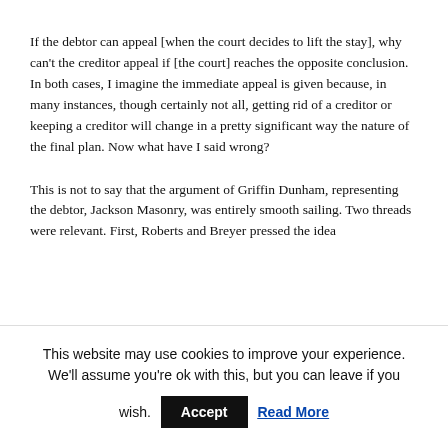If the debtor can appeal [when the court decides to lift the stay], why can't the creditor appeal if [the court] reaches the opposite conclusion. In both cases, I imagine the immediate appeal is given because, in many instances, though certainly not all, getting rid of a creditor or keeping a creditor will change in a pretty significant way the nature of the final plan. Now what have I said wrong?
This is not to say that the argument of Griffin Dunham, representing the debtor, Jackson Masonry, was entirely smooth sailing. Two threads were relevant. First, Roberts and Breyer pressed the idea
This website may use cookies to improve your experience. We'll assume you're ok with this, but you can leave if you wish.